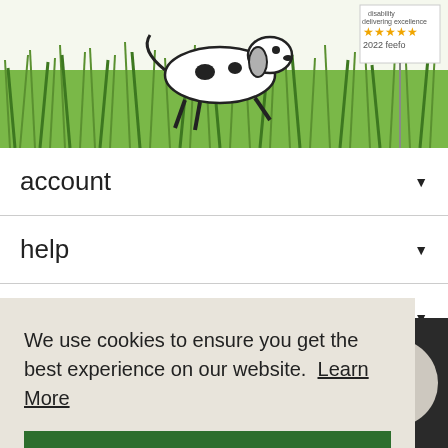[Figure (illustration): Illustration of a dalmatian dog running through green grass with a star rating award sign (2022, feefo) in the top right corner]
account ▾
help ▾
legal ▾
▾
We use cookies to ensure you get the best experience on our website. Learn More
got it!
[Figure (illustration): Partial circle button showing 'back to top' text on dark background]